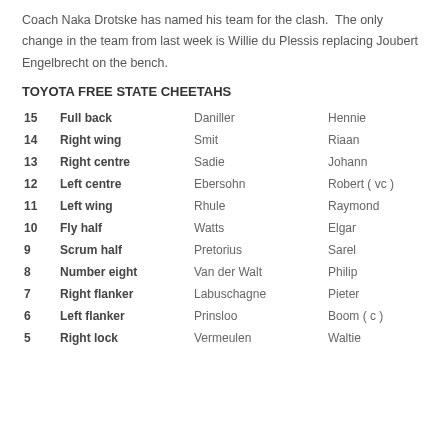Coach Naka Drotske has named his team for the clash.  The only change in the team from last week is Willie du Plessis replacing Joubert Engelbrecht on the bench.
TOYOTA FREE STATE CHEETAHS
| # | Position | Surname | First name |
| --- | --- | --- | --- |
| 15 | Full back | Daniller | Hennie |
| 14 | Right wing | Smit | Riaan |
| 13 | Right centre | Sadie | Johann |
| 12 | Left centre | Ebersohn | Robert ( vc ) |
| 11 | Left wing | Rhule | Raymond |
| 10 | Fly half | Watts | Elgar |
| 9 | Scrum half | Pretorius | Sarel |
| 8 | Number eight | Van der Walt | Philip |
| 7 | Right flanker | Labuschagne | Pieter |
| 6 | Left flanker | Prinsloo | Boom ( c ) |
| 5 | Right lock | Vermeulen | Waltie |